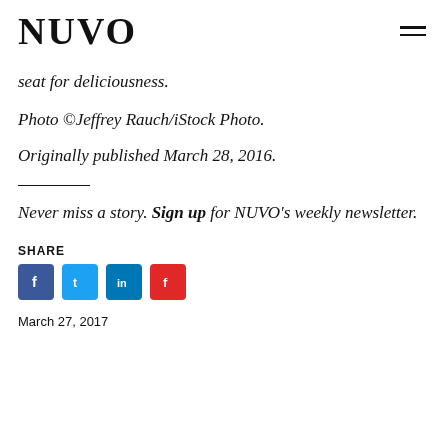NUVO
seat for deliciousness.
Photo ©Jeffrey Rauch/iStock Photo.
Originally published March 28, 2016.
Never miss a story. Sign up for NUVO's weekly newsletter.
SHARE
March 27, 2017